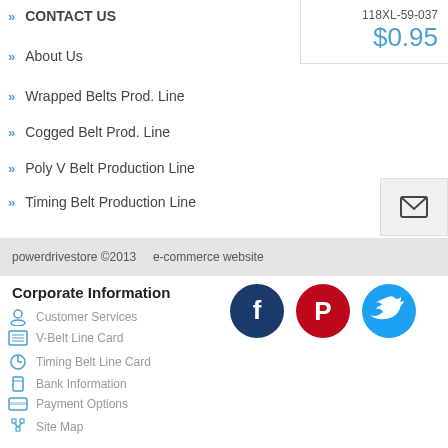CONTACT US
About Us
Wrapped Belts Prod. Line
Cogged Belt Prod. Line
Poly V Belt Production Line
Timing Belt Production Line
118XL-59-037
$0.95
powerdrivestore ©2013    e-commerce website
Corporate Information
Customer Services
V-Belt Line Card
Timing Belt Line Card
Bank Information
Payment Options
Site Map
[Figure (illustration): Social media icons: Facebook (dark blue circle with f), Pinterest (red circle with P), Twitter (light blue circle with bird)]